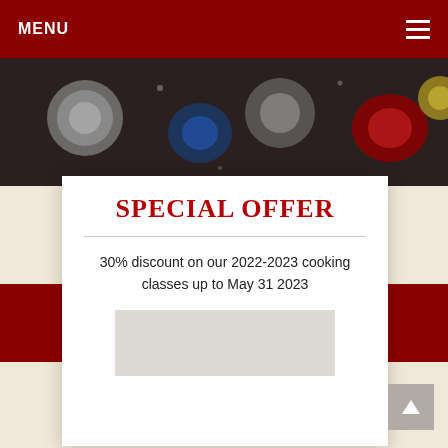MENU
[Figure (photo): Close-up photo of colorful decorative glass or gems on a dark surface]
We t... deal
SPECIAL OFFER
30% discount on our 2022-2023 cooking classes up to May 31 2023
€ 280 - $ 329
Price per person.
Solo Travelers
€ 560 - $ 658.
€ 390 - $ 458